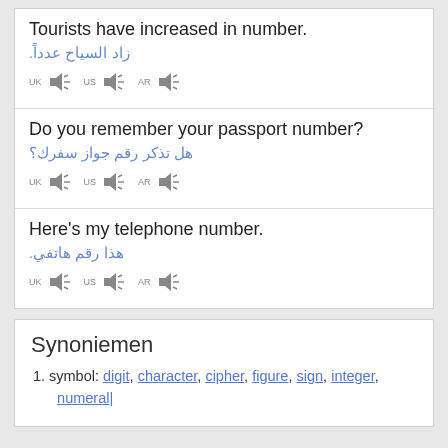Tourists have increased in number.
زاد السياح عدداً.
[Figure (other): Three audio buttons labeled UK, US, AR with speaker icons]
Do you remember your passport number?
هل تذكر رقم جواز سفرك؟
[Figure (other): Three audio buttons labeled UK, US, AR with speaker icons]
Here's my telephone number.
هذا رقم هاتفي.
[Figure (other): Three audio buttons labeled UK, US, AR with speaker icons]
Synoniemen
symbol: digit, character, cipher, figure, sign, integer, numeral